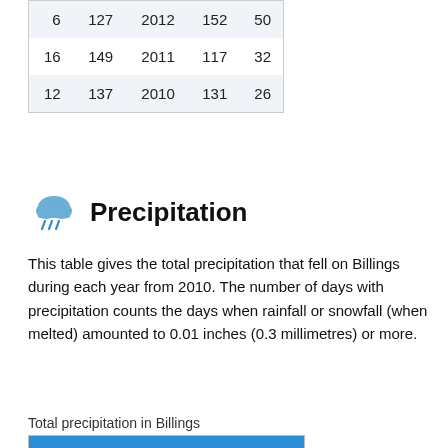| 6 | 127 | 2012 | 152 | 50 |
| 16 | 149 | 2011 | 117 | 32 |
| 12 | 137 | 2010 | 131 | 26 |
Precipitation
This table gives the total precipitation that fell on Billings during each year from 2010. The number of days with precipitation counts the days when rainfall or snowfall (when melted) amounted to 0.01 inches (0.3 millimetres) or more.
Total precipitation in Billings
| Days | Year | Inches | Millimetres |
| --- | --- | --- | --- |
| 94 | 2021 | 10.2 | 258 |
| 90 | 2020 | 13.3 | 337 |
| 128 | 2019 | 19.1 | 486 |
| 118 | 2018 | 19.1 | 484 |
| 99 | 2017 | 17.7 | 449 |